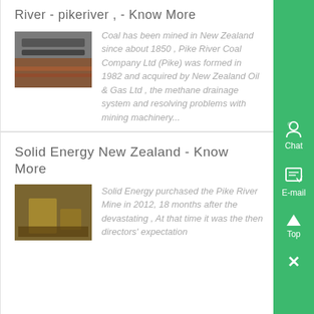River - pikeriver , - Know More
[Figure (photo): Mining conveyor belt machinery photo]
Coal has been mined in New Zealand since about 1850 , Pike River Coal Company Ltd (Pike) was formed in 1982 and acquired by New Zealand Oil & Gas Ltd , the methane drainage system and resolving problems with mining machinery...
Solid Energy New Zealand - Know More
[Figure (photo): Mining equipment photo]
Solid Energy purchased the Pike River Mine in 2012, 18 months after the devastating , At that time it was the then directors' expectation